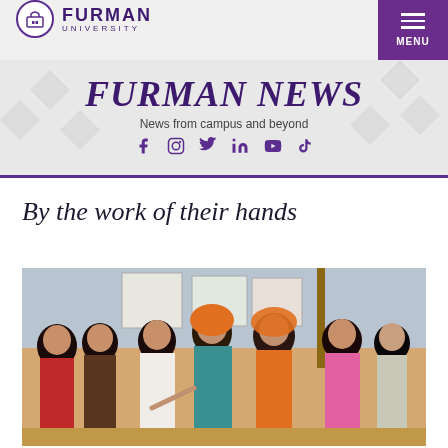FURMAN UNIVERSITY — MENU
FURMAN NEWS
News from campus and beyond
Social icons: Facebook, Instagram, Twitter, LinkedIn, YouTube, TikTok
By the work of their hands
[Figure (photo): Group of people in colorful traditional Indian attire gathered around a poster board or map, appearing to be at a community meeting or planning session outdoors.]